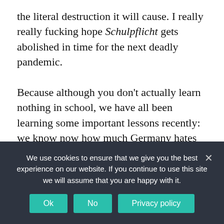the literal destruction it will cause. I really really fucking hope Schulpflicht gets abolished in time for the next deadly pandemic.

Because although you don't actually learn nothing in school, we have all been learning some important lessons recently: we know now how much Germany hates their schoolchildren. We know how much Germans hate their children, collectively, and yes, individually. We know kids often survive (although the kids who have died in Britain and the States have been, I want to add, non-white).
We use cookies to ensure that we give you the best experience on our website. If you continue to use this site we will assume that you are happy with it.